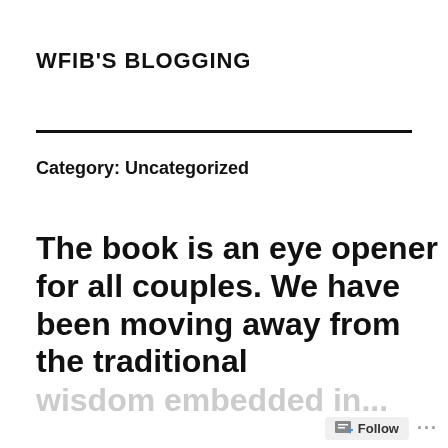WFIB'S BLOGGING
Category: Uncategorized
The book is an eye opener for all couples. We have been moving away from the traditional wisdom embedded in...